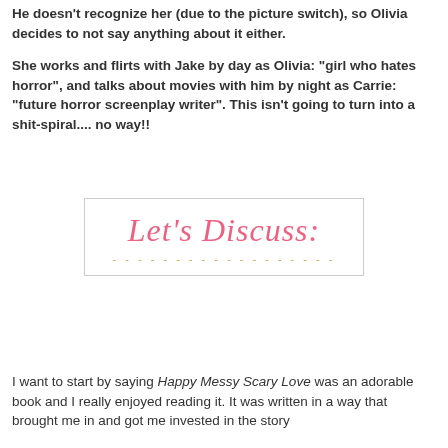He doesn't recognize her (due to the picture switch), so Olivia decides to not say anything about it either.
She works and flirts with Jake by day as Olivia: "girl who hates horror", and talks about movies with him by night as Carrie: "future horror screenplay writer". This isn't going to turn into a shit-spiral.... no way!!
[Figure (illustration): Decorative banner with cursive pink text reading 'Let's Discuss:' and a dashed line below it, inside a light-bordered rectangle.]
I want to start by saying Happy Messy Scary Love was an adorable book and I really enjoyed reading it. It was written in a way that brought me in and got me invested in the story